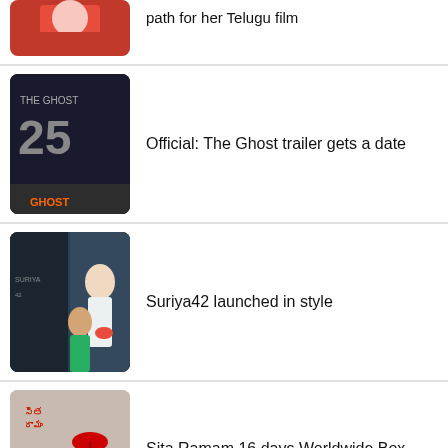[Figure (photo): Partially visible image of a woman in a red outfit at top of page]
path for her Telugu film
[Figure (photo): Movie poster for 'The Ghost' showing the number 25 and two actors]
Official: The Ghost trailer gets a date
[Figure (photo): Scene from Suriya42 movie launch showing actors during a ceremony]
Suriya42 launched in style
[Figure (photo): Movie poster for Sita Ramam showing a couple with a red umbrella]
Sita Ramam 16 days Worldwide Box office Collections